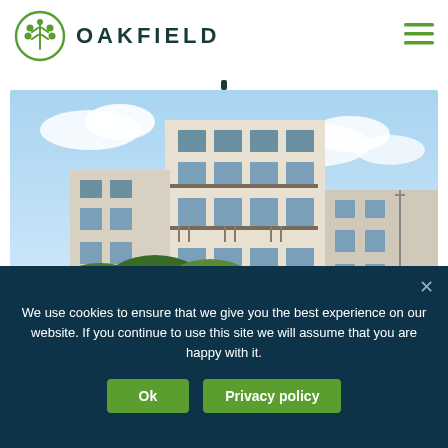[Figure (logo): Oakfield logo: green circular icon with stylized leaf/tree and text OAKFIELD in dark teal]
[Figure (photo): Exterior photograph of a multi-storey residential apartment building with balconies, cream/beige facade, hedges in foreground, blue sky with clouds]
We use cookies to ensure that we give you the best experience on our website. If you continue to use this site we will assume that you are happy with it.
Ok   Privacy policy